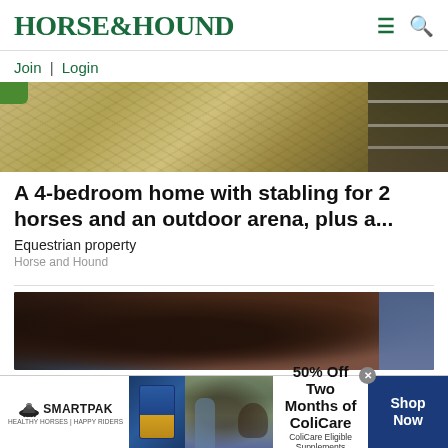HORSE&HOUND
Join | Login
[Figure (photo): Aerial view of a gravel/stone yard area with wooden fence rails visible on the right side and green grass on the upper left]
A 4-bedroom home with stabling for 2 horses and an outdoor arena, plus a...
Equestrian property
Horse and Hound
[Figure (photo): Close-up photo of a horse's mane and head, dark brown/black hair, with a blue background]
[Figure (infographic): SmartPak advertisement banner: 50% Off Two Months of ColiCare. ColiCare Eligible Supplements. CODE: COLICARE10. Shop Now button.]